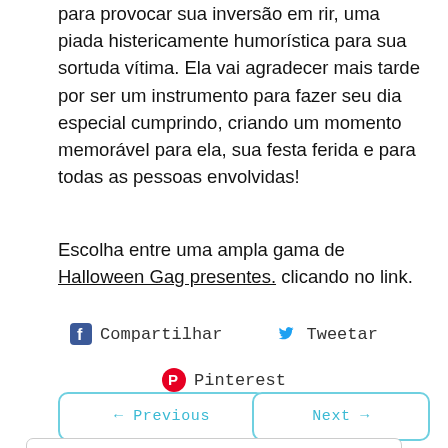para provocar sua inversão em rir, uma piada histericamente humorística para sua sortuda vítima. Ela vai agradecer mais tarde por ser um instrumento para fazer seu dia especial cumprindo, criando um momento memorável para ela, sua festa ferida e para todas as pessoas envolvidas!
Escolha entre uma ampla gama de Halloween Gag presentes. clicando no link.
Compartilhar   Tweetar
Pinterest
← Previous
Next →
US Dollar ›
Portuguese (Brazil) ›